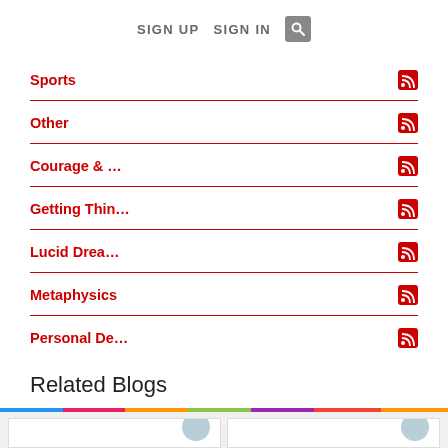SIGN UP   SIGN IN   [search]
Sports
Other
Courage & …
Getting Thin…
Lucid Drea…
Metaphysics
Personal De…
Related Blogs
[Figure (screenshot): Two blog card thumbnails at bottom of page]